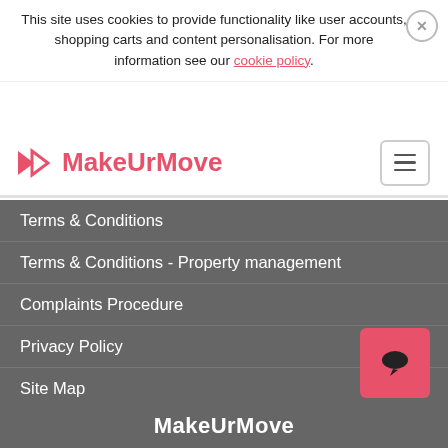This site uses cookies to provide functionality like user accounts, shopping carts and content personalisation. For more information see our cookie policy.
[Figure (logo): MakeUrMove logo with pink arrow icon and text]
Terms & Conditions
Terms & Conditions - Property management
Complaints Procedure
Privacy Policy
Site Map
CMP Certificate
Subscribe to Newsletters
MakeUrMove